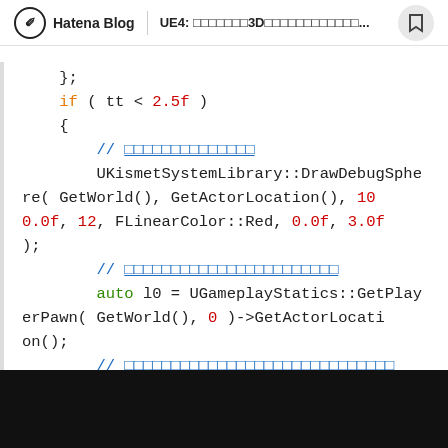Hatena Blog | UE4: xxxxxxxxx3Dxxxxxxxxxxxxx...
); if ( tt < 2.5f ) { // xxxxxxxxxxxxxx UKismetSystemLibrary::DrawDebugSphere( GetWorld(), GetActorLocation(), 100.0f, 12, FLinearColor::Red, 0.0f, 3.0f ); // xxxxxxxxxxxxxxxxxxxxxxx auto l0 = UGameplayStatics::GetPlayerPawn( GetWorld(), 0 )->GetActorLocation(); // xxxxxxxxxxxxxxxxxxxxxxxxxxxxxxx